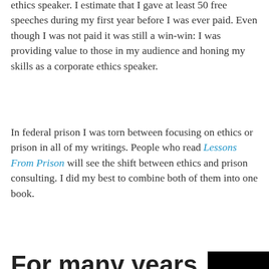ethics speaker. I estimate that I gave at least 50 free speeches during my first year before I was ever paid. Even though I was not paid it was still a win-win: I was providing value to those in my audience and honing my skills as a corporate ethics speaker.
In federal prison I was torn between focusing on ethics or prison in all of my writings. People who read Lessons From Prison will see the shift between ethics and prison consulting. I did my best to combine both of them into one book.
For many years my original site EtikaLLC.com focused on both my
[Figure (illustration): Black background image with white italic text 'I'm' above large bold white text 'BACK'. Below the image: caption 'Corporate Ethics' and partial text 'Speaker V. Federal']
Corporate Ethics
Speaker V. Federal